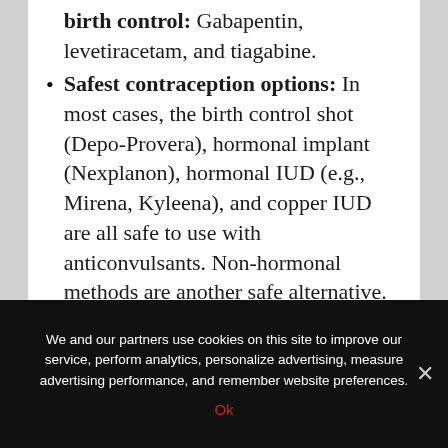birth control: Gabapentin, levetiracetam, and tiagabine.
Safest contraception options: In most cases, the birth control shot (Depo-Provera), hormonal implant (Nexplanon), hormonal IUD (e.g., Mirena, Kyleena), and copper IUD are all safe to use with anticonvulsants. Non-hormonal methods are another safe alternative.
Good to know: Hormonal contraception makes lamotrigine less effective at preventing seizures, so these shouldn't be
We and our partners use cookies on this site to improve our service, perform analytics, personalize advertising, measure advertising performance, and remember website preferences.
Ok